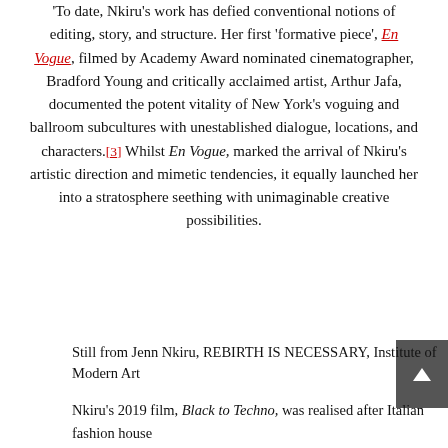'To date, Nkiru's work has defied conventional notions of editing, story, and structure. Her first 'formative piece', En Vogue, filmed by Academy Award nominated cinematographer, Bradford Young and critically acclaimed artist, Arthur Jafa, documented the potent vitality of New York's voguing and ballroom subcultures with unestablished dialogue, locations, and characters.[3] Whilst En Vogue, marked the arrival of Nkiru's artistic direction and mimetic tendencies, it equally launched her into a stratosphere seething with unimaginable creative possibilities.
Still from Jenn Nkiru, REBIRTH IS NECESSARY, Institute of Modern Art
Nkiru's 2019 film, Black to Techno, was realised after Italian fashion house